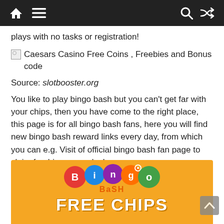Navigation bar with home, menu, search, and shuffle icons
plays with no tasks or registration!
[Figure (illustration): Broken image placeholder for: Caesars Casino Free Coins , Freebies and Bonus code]
Source: slotbooster.org
You like to play bingo bash but you can't get far with your chips, then you have come to the right place, this page is for all bingo bash fans, here you will find new bingo bash reward links every day, from which you can e.g. Visit of official bingo bash fan page to claim freebies every day!
[Figure (illustration): Bingo Bash branded orange banner with bingo ball logo and FREE CHIPS text at the bottom]